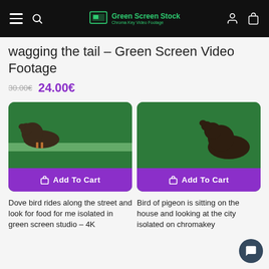Green Screen Stock – Chroma Key Video Footage (navigation bar)
wagging the tail – Green Screen Video Footage
30.00€  24.00€
[Figure (screenshot): Product card showing a pigeon/dove on a green screen background with Add To Cart button]
[Figure (screenshot): Product card showing a pigeon sitting on a green screen background with Add To Cart button]
Dove bird rides along the street and look for food for me isolated in green screen studio – 4K
Bird of pigeon is sitting on the house and looking at the city isolated on chromakey